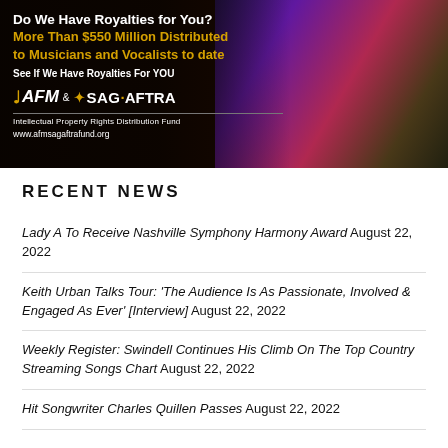[Figure (infographic): AFM & SAG-AFTRA Intellectual Property Rights Distribution Fund advertisement banner. Dark background with musicians. Text: 'Do We Have Royalties for You? More Than $550 Million Distributed to Musicians and Vocalists to date. See If We Have Royalties For YOU. AFM & SAG-AFTRA Intellectual Property Rights Distribution Fund. www.afmsagaftrafund.org']
RECENT NEWS
Lady A To Receive Nashville Symphony Harmony Award August 22, 2022
Keith Urban Talks Tour: 'The Audience Is As Passionate, Involved & Engaged As Ever' [Interview] August 22, 2022
Weekly Register: Swindell Continues His Climb On The Top Country Streaming Songs Chart August 22, 2022
Hit Songwriter Charles Quillen Passes August 22, 2022